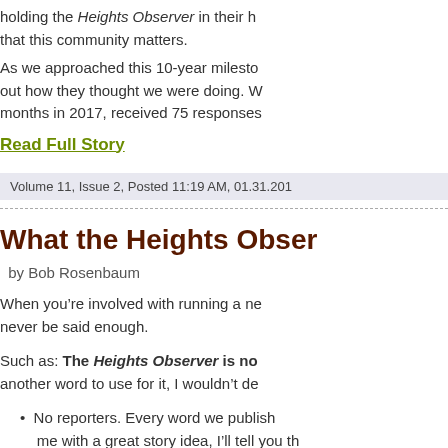holding the Heights Observer in their h that this community matters.
As we approached this 10-year milesto out how they thought we were doing. W months in 2017, received 75 responses
Read Full Story
Volume 11, Issue 2, Posted 11:19 AM, 01.31.201
What the Heights Obser
by Bob Rosenbaum
When you’re involved with running a ne never be said enough.
Such as: The Heights Observer is no another word to use for it, I wouldn’t de
No reporters. Every word we publish me with a great story idea, I’ll tell you th yourself.
Contributors are encouraged to write A traditional newspaper would view thi